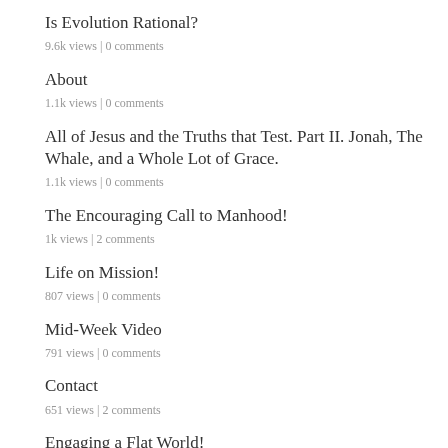Is Evolution Rational?
9.6k views | 0 comments
About
1.1k views | 0 comments
All of Jesus and the Truths that Test. Part II. Jonah, The Whale, and a Whole Lot of Grace.
1.1k views | 0 comments
The Encouraging Call to Manhood!
1k views | 2 comments
Life on Mission!
807 views | 0 comments
Mid-Week Video
791 views | 0 comments
Contact
651 views | 2 comments
Engaging a Flat World!
625 views | 0 comments